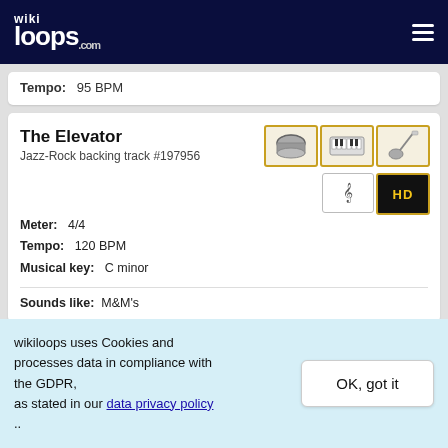wikiloops.com
Tempo: 95 BPM
The Elevator
Jazz-Rock backing track #197956
[Figure (illustration): Instrument icons: drums, keyboard, guitar; key signature badge; HD badge]
Meter: 4/4
Tempo: 120 BPM
Musical key: C minor
Sounds like: M&M's
Groove From Urft
wikiloops uses Cookies and processes data in compliance with the GDPR, as stated in our data privacy policy ..